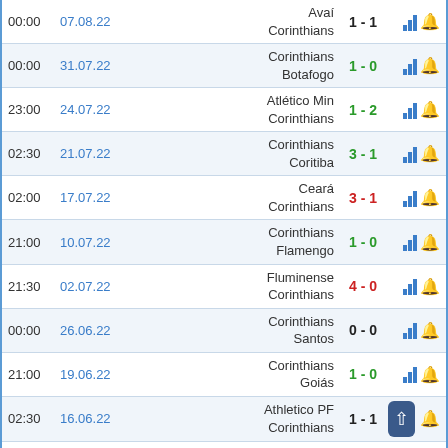| Time | Date | Match | Score | Icons |
| --- | --- | --- | --- | --- |
| 00:00 | 07.08.22 | Avaí / Corinthians | 1 - 1 |  |
| 00:00 | 31.07.22 | Corinthians / Botafogo | 1 - 0 |  |
| 23:00 | 24.07.22 | Atlético Min / Corinthians | 1 - 2 |  |
| 02:30 | 21.07.22 | Corinthians / Coritiba | 3 - 1 |  |
| 02:00 | 17.07.22 | Ceará / Corinthians | 3 - 1 |  |
| 21:00 | 10.07.22 | Corinthians / Flamengo | 1 - 0 |  |
| 21:30 | 02.07.22 | Fluminense / Corinthians | 4 - 0 |  |
| 00:00 | 26.06.22 | Corinthians / Santos | 0 - 0 |  |
| 21:00 | 19.06.22 | Corinthians / Goiás | 1 - 0 |  |
| 02:30 | 16.06.22 | Athletico PF / Corinthians | 1 - 1 |  |
| 21:30 | 11.06.22 | Corinthians / Juventude | 2 - 0 |  |